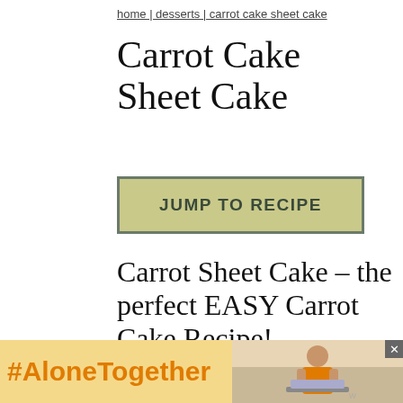home | desserts | carrot cake sheet cake
Carrot Cake Sheet Cake
JUMP TO RECIPE
Carrot Sheet Cake – the perfect EASY Carrot Cake Recipe!
Don't have time for a layer cake? This Carrot Sheet Cake is where it's at! The perfect dessert for your Easter dinner or
[Figure (infographic): Ad banner with orange #AloneTogether hashtag text on yellow background, and a photo of a woman on the right with an X close button]